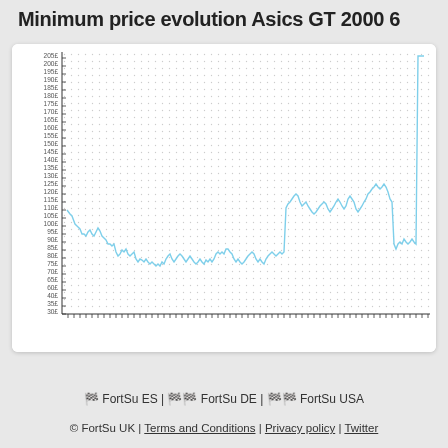Minimum price evolution Asics GT 2000 6
[Figure (continuous-plot): Line chart showing minimum price evolution of Asics GT 2000 6 over time. Y-axis shows price values from approximately 30£ to 205£. X-axis shows dates. The line starts around 95-100£, drops to ~65-70£ range mid-chart, rises to ~115-130£ range, spikes to ~205£ at the far right end.]
🏁 FortSu ES | 🏁🏁 FortSu DE | 🏁🏁 FortSu USA
© FortSu UK | Terms and Conditions | Privacy policy | Twitter